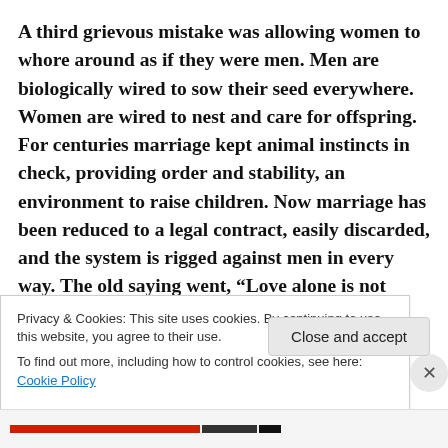A third grievous mistake was allowing women to whore around as if they were men. Men are biologically wired to sow their seed everywhere. Women are wired to nest and care for offspring. For centuries marriage kept animal instincts in check, providing order and stability, an environment to raise children. Now marriage has been reduced to a legal contract, easily discarded, and the system is rigged against men in every way. The old saying went, “Love alone is not enough to make a marriage.” Now it don’t
Privacy & Cookies: This site uses cookies. By continuing to use this website, you agree to their use.
To find out more, including how to control cookies, see here: Cookie Policy